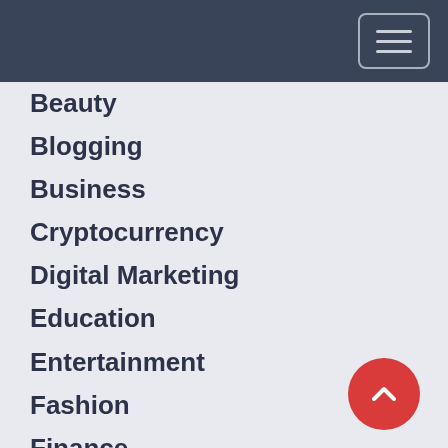navigation header with hamburger menu
Beauty
Blogging
Business
Cryptocurrency
Digital Marketing
Education
Entertainment
Fashion
Finance
Food
Games
General (partially visible)